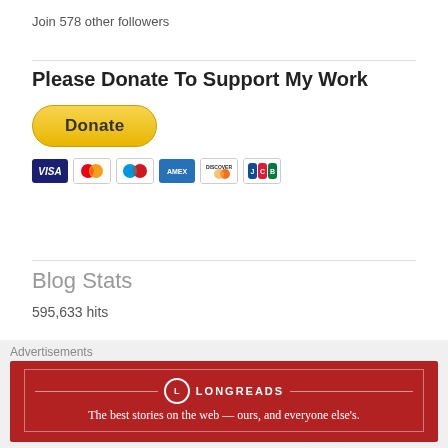Join 578 other followers
Please Donate To Support My Work
[Figure (other): PayPal Donate button with credit card icons (Visa, Mastercard, Maestro, Amex, Discover, JCB)]
Blog Stats
595,633 hits
[Figure (other): Follow Earth Extremities WordPress button with 538 follower count, and close (X) button]
Advertisements
[Figure (other): Longreads advertisement banner: The best stories on the web — ours, and everyone else's.]